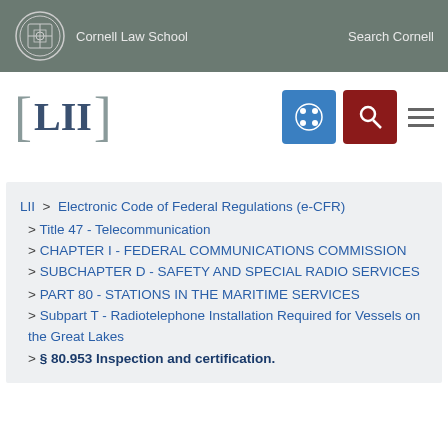Cornell Law School | Search Cornell
[Figure (logo): LII (Legal Information Institute) logo with Cornell Law School branding, navigation icons (grid and search), and hamburger menu]
LII > Electronic Code of Federal Regulations (e-CFR) > Title 47 - Telecommunication > CHAPTER I - FEDERAL COMMUNICATIONS COMMISSION > SUBCHAPTER D - SAFETY AND SPECIAL RADIO SERVICES > PART 80 - STATIONS IN THE MARITIME SERVICES > Subpart T - Radiotelephone Installation Required for Vessels on the Great Lakes > § 80.953 Inspection and certification.